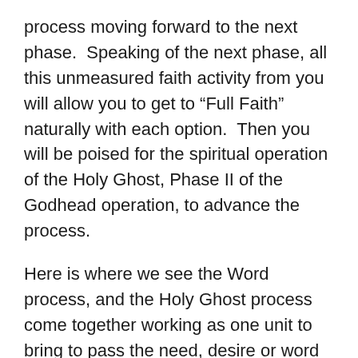process moving forward to the next phase.  Speaking of the next phase, all this unmeasured faith activity from you will allow you to get to “Full Faith” naturally with each option.  Then you will be poised for the spiritual operation of the Holy Ghost, Phase II of the Godhead operation, to advance the process.
Here is where we see the Word process, and the Holy Ghost process come together working as one unit to bring to pass the need, desire or word from God that has just sprung up in your life.  We will pick up right here in the next post showing how unmeasured faith activity connects the “Word” process, and the “Holy Ghost” process together to take us to the next level.  This will put the Word seeds into the good soil so that the power of the Holy Ghost can fertilize, and nurture the seed growth into that which we long for.